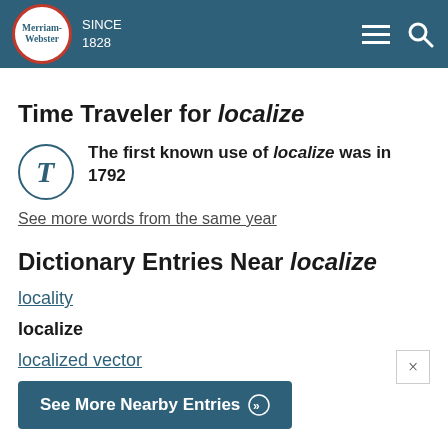Merriam-Webster SINCE 1828
Time Traveler for localize
The first known use of localize was in 1792
See more words from the same year
Dictionary Entries Near localize
locality
localize
localized vector
See More Nearby Entries